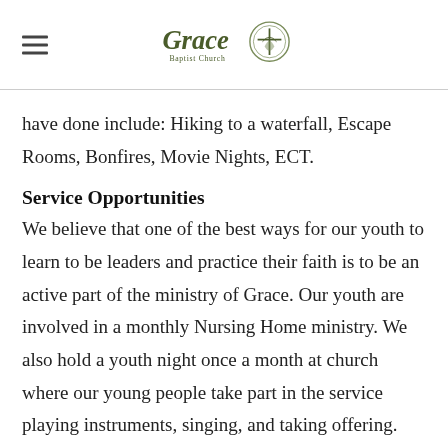Grace Baptist Church
have done include: Hiking to a waterfall, Escape Rooms, Bonfires, Movie Nights, ECT.
Service Opportunities
We believe that one of the best ways for our youth to learn to be leaders and practice their faith is to be an active part of the ministry of Grace. Our youth are involved in a monthly Nursing Home ministry. We also hold a youth night once a month at church where our young people take part in the service playing instruments, singing, and taking offering. Many of our youth also sing in the choir on Sunday mornings,